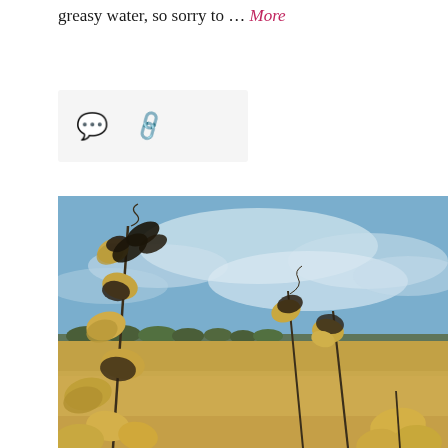greasy water, so sorry to … More
[Figure (other): Icons: speech bubble comment icon and a chain link share icon on a light grey background]
[Figure (photo): Outdoor photograph of dried wildflower or weed stalks with papery seed pods in the foreground, against a wide open harvested golden field under a partly cloudy blue sky, with a tree line in the far background.]